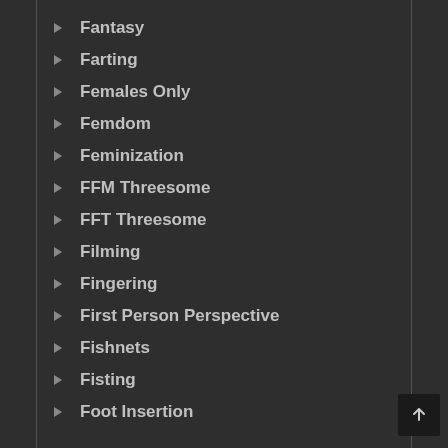Fantasy
Farting
Females Only
Femdom
Feminization
FFM Threesome
FFT Threesome
Filming
Fingering
First Person Perspective
Fishnets
Fisting
Foot Insertion